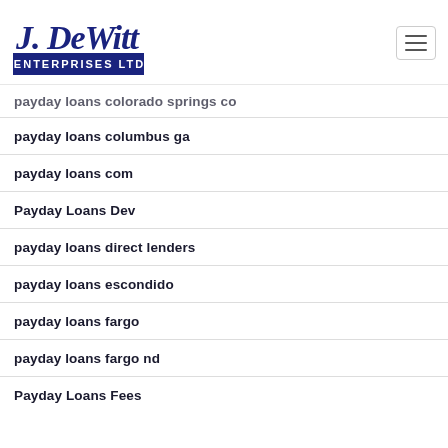J. DeWitt Enterprises Ltd
payday loans colorado springs co
payday loans columbus ga
payday loans com
Payday Loans Dev
payday loans direct lenders
payday loans escondido
payday loans fargo
payday loans fargo nd
Payday Loans Fees